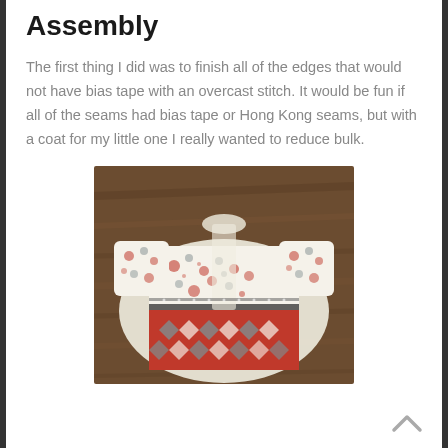Assembly
The first thing I did was to finish all of the edges that would not have bias tape with an overcast stitch. It would be fun if all of the seams had bias tape or Hong Kong seams, but with a coat for my little one I really wanted to reduce bulk.
[Figure (photo): A small child's patchwork coat/jacket laid flat on a wooden floor, showing floral and geometric fabric panels in red, blue, and white, with a cream quilted lining visible underneath.]